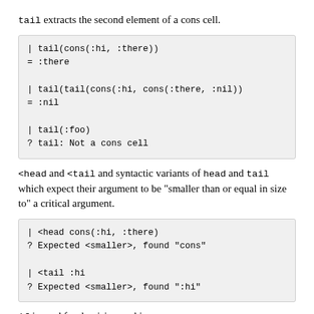tail extracts the second element of a cons cell.
| tail(cons(:hi, :there))
= :there

| tail(tail(cons(:hi, cons(:there, :nil)))
= :nil

| tail(:foo)
? tail: Not a cons cell
<head and <tail and syntactic variants of head and tail which expect their argument to be "smaller than or equal in size to" a critical argument.
| <head cons(:hi, :there)
? Expected <smaller>, found "cons"

| <tail :hi
? Expected <smaller>, found ":hi"
if is used for descision-making.